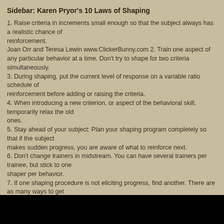Sidebar: Karen Pryor's 10 Laws of Shaping
1. Raise criteria in increments small enough so that the subject always has a realistic chance of reinforcement.
Joan Orr and Teresa Lewin www.ClickerBunny.com 2. Train one aspect of any particular behavior at a time. Don't try to shape for two criteria simultaneously.
3. During shaping, put the current level of response on a variable ratio schedule of reinforcement before adding or raising the criteria.
4. When introducing a new criterion, or aspect of the behavioral skill, temporarily relax the old ones.
5. Stay ahead of your subject: Plan your shaping program completely so that if the subject makes sudden progress, you are aware of what to reinforce next.
6. Don't change trainers in midstream. You can have several trainers per trainee, but stick to one shaper per behavior.
7. If one shaping procedure is not eliciting progress, find another. There are as many ways to get behavior as there are trainers to think them up.
8. Don't interrupt a training session gratuitously; that constitutes a punishment.